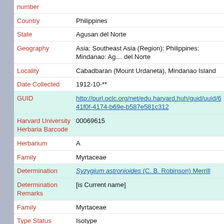| Field | Value |
| --- | --- |
| number |  |
| Country | Philippines |
| State | Agusan del Norte |
| Geography | Asia: Southeast Asia (Region): Philippines: Mindanao: Agusan del Norte |
| Locality | Cabadbaran (Mount Urdaneta), Mindanao Island |
| Date Collected | 1912-10-** |
| GUID | http://purl.oclc.org/net/edu.harvard.huh/guid/uuid/641f0f-4174-b69e-b587e581c312 |
| Harvard University Herbaria Barcode | 00069615 |
| Herbarium | A |
| Family | Myrtaceae |
| Determination | Syzygium astronioides (C. B. Robinson) Merrill |
| Determination Remarks | [is Current name] |
| Family | Myrtaceae |
| Type Status | Isotype |
| Isotype of | Eugenia bakeri Elmer |